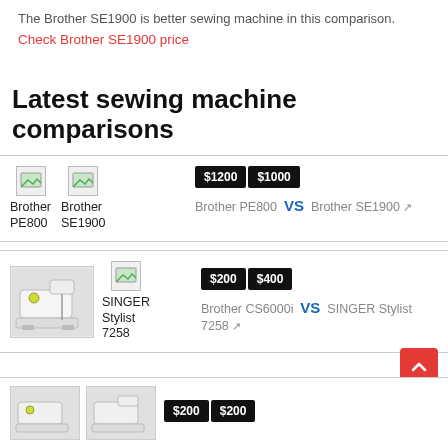The Brother SE1900 is better sewing machine in this comparison.
Check Brother SE1900 price
Latest sewing machine comparisons
[Figure (screenshot): Comparison card: Brother PE800 vs Brother SE1900, prices $1200 and $1000]
[Figure (screenshot): Comparison card: Brother CS6000i vs SINGER Stylist 7258, prices $200 and $400, includes photo of sewing machine]
[Figure (screenshot): Partial comparison card at bottom with prices $200 and $200, scroll-to-top button visible]